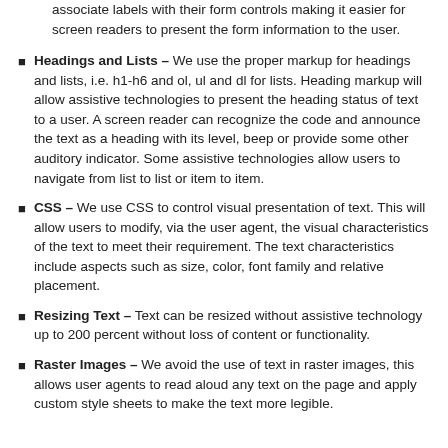associate labels with their form controls making it easier for screen readers to present the form information to the user.
Headings and Lists – We use the proper markup for headings and lists, i.e. h1-h6 and ol, ul and dl for lists. Heading markup will allow assistive technologies to present the heading status of text to a user. A screen reader can recognize the code and announce the text as a heading with its level, beep or provide some other auditory indicator. Some assistive technologies allow users to navigate from list to list or item to item.
CSS – We use CSS to control visual presentation of text. This will allow users to modify, via the user agent, the visual characteristics of the text to meet their requirement. The text characteristics include aspects such as size, color, font family and relative placement.
Resizing Text – Text can be resized without assistive technology up to 200 percent without loss of content or functionality.
Raster Images – We avoid the use of text in raster images, this allows user agents to read aloud any text on the page and apply custom style sheets to make the text more legible.